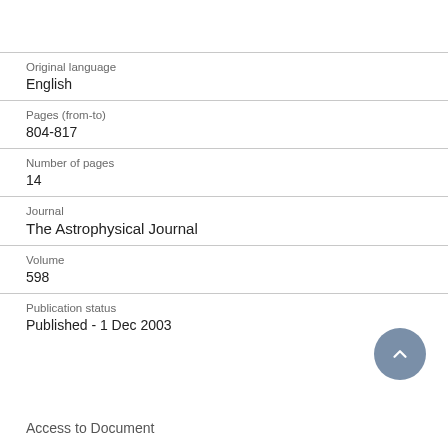Original language
English
Pages (from-to)
804-817
Number of pages
14
Journal
The Astrophysical Journal
Volume
598
Publication status
Published - 1 Dec 2003
Access to Document